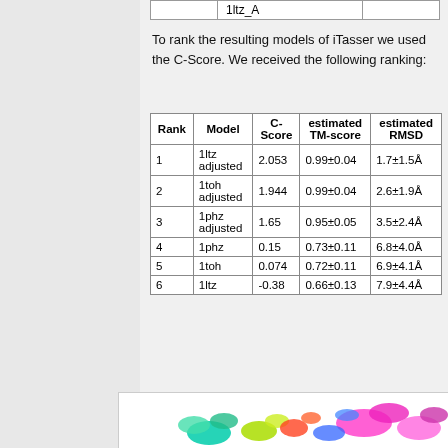|  | 1ltz_A |  |
| --- | --- | --- |
To rank the resulting models of iTasser we used the C-Score. We received the following ranking:
| Rank | Model | C-Score | estimated TM-score | estimated RMSD |
| --- | --- | --- | --- | --- |
| 1 | 1ltz adjusted | 2.053 | 0.99±0.04 | 1.7±1.5Å |
| 2 | 1toh adjusted | 1.944 | 0.99±0.04 | 2.6±1.9Å |
| 3 | 1phz adjusted | 1.65 | 0.95±0.05 | 3.5±2.4Å |
| 4 | 1phz | 0.15 | 0.73±0.11 | 6.8±4.0Å |
| 5 | 1toh | 0.074 | 0.72±0.11 | 6.9±4.1Å |
| 6 | 1ltz | -0.38 | 0.66±0.13 | 7.9±4.4Å |
[Figure (photo): Protein structure visualization showing colorful ribbon diagram of protein model]